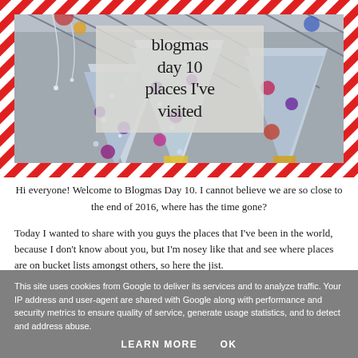[Figure (photo): Indoor Christmas decorations with glittery Christmas trees and colorful ornaments, framed with a red and white candy cane striped border]
blogmas day 10 places I've visited
Hi everyone! Welcome to Blogmas Day 10. I cannot believe we are so close to the end of 2016, where has the time gone?
Today I wanted to share with you guys the places that I've been in the world, because I don't know about you, but I'm nosey like that and see where places are on bucket lists amongst others, so here the jist.
This site uses cookies from Google to deliver its services and to analyze traffic. Your IP address and user-agent are shared with Google along with performance and security metrics to ensure quality of service, generate usage statistics, and to detect and address abuse.
LEARN MORE    OK